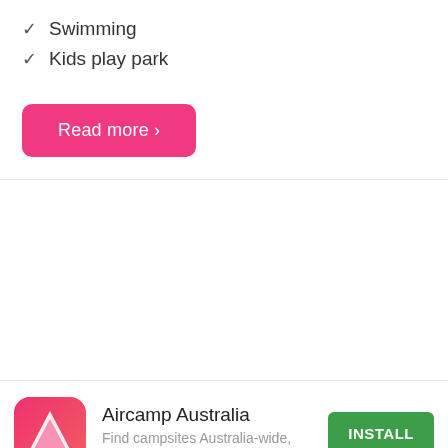✓ Swimming
✓ Kids play park
Read more ›
[Figure (screenshot): Empty white middle section between two horizontal dividers]
[Figure (infographic): Aircamp Australia app advertisement banner with pink app icon showing a white triangle/tent shape, app name 'Aircamp Australia', description 'Find campsites Australia-wide, easy & free.', and green INSTALL button]